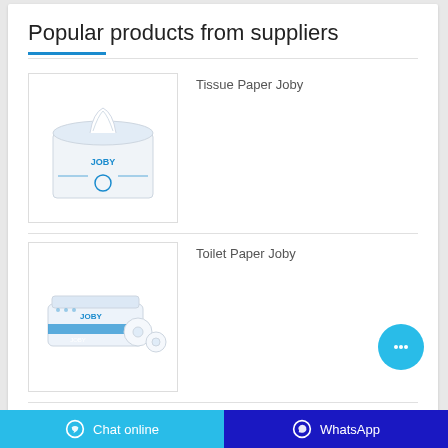Popular products from suppliers
[Figure (photo): Product photo of Tissue Paper Joby — a white rectangular tissue box with blue JOBY branding and tissues visible at top]
Tissue Paper Joby
[Figure (photo): Product photo of Toilet Paper Joby — a flat package with JOBY branding containing toilet paper rolls, with two rolls visible beside it]
Toilet Paper Joby
Chat online   WhatsApp